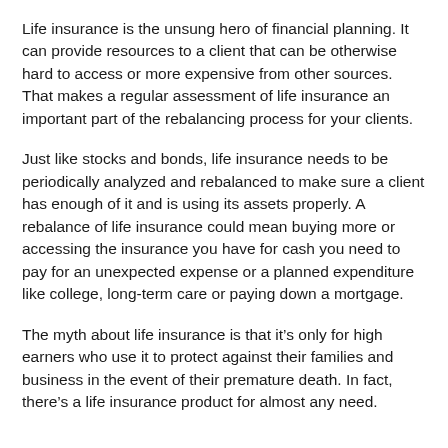Life insurance is the unsung hero of financial planning. It can provide resources to a client that can be otherwise hard to access or more expensive from other sources. That makes a regular assessment of life insurance an important part of the rebalancing process for your clients.
Just like stocks and bonds, life insurance needs to be periodically analyzed and rebalanced to make sure a client has enough of it and is using its assets properly. A rebalance of life insurance could mean buying more or accessing the insurance you have for cash you need to pay for an unexpected expense or a planned expenditure like college, long-term care or paying down a mortgage.
The myth about life insurance is that it’s only for high earners who use it to protect against their families and business in the event of their premature death. In fact, there’s a life insurance product for almost any need.